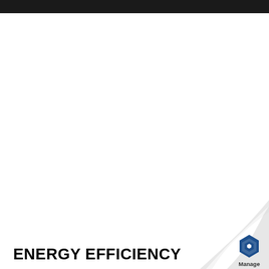ENERGY EFFICIENCY
[Figure (logo): Manage Engine logo with hexagon icon on a page-curl corner decoration in the bottom-right]